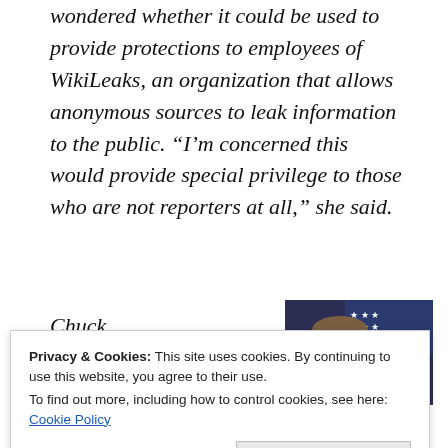wondered whether it could be used to provide protections to employees of WikiLeaks, an organization that allows anonymous sources to leak information to the public. “I’m concerned this would provide special privilege to those who are not reporters at all,” she said.
Chuck Schumer :
[Figure (photo): Photo of Chuck Schumer speaking at a podium with an American flag in the background]
Privacy & Cookies: This site uses cookies. By continuing to use this website, you agree to their use. To find out more, including how to control cookies, see here: Cookie Policy
Close and accept
distinguish journalists from those who